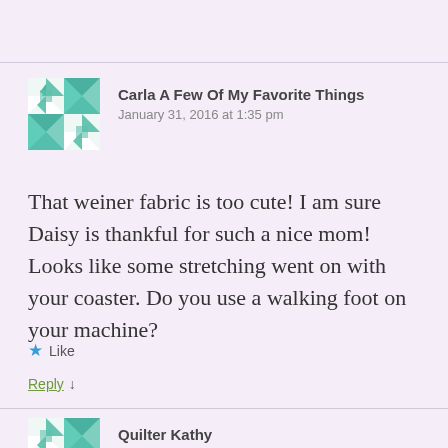[Figure (illustration): Teal and white quilt pattern avatar icon for Carla A Few Of My Favorite Things]
Carla A Few Of My Favorite Things
January 31, 2016 at 1:35 pm
That weiner fabric is too cute! I am sure Daisy is thankful for such a nice mom! Looks like some stretching went on with your coaster. Do you use a walking foot on your machine?
Like
Reply ↓
[Figure (illustration): Teal and white quilt pattern avatar icon for Quilter Kathy]
Quilter Kathy
January 31, 2016 at 3:04 pm